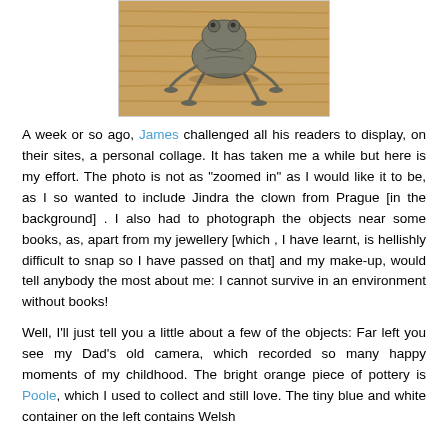[Figure (photo): A close-up photo of a metal frog figurine on a wooden surface]
A week or so ago, James challenged all his readers to display, on their sites, a personal collage. It has taken me a while but here is my effort. The photo is not as "zoomed in" as I would like it to be, as I so wanted to include Jindra the clown from Prague [in the background] . I also had to photograph the objects near some books, as, apart from my jewellery [which , I have learnt, is hellishly difficult to snap so I have passed on that] and my make-up, would tell anybody the most about me: I cannot survive in an environment without books!
Well, I'll just tell you a little about a few of the objects: Far left you see my Dad's old camera, which recorded so many happy moments of my childhood. The bright orange piece of pottery is Poole, which I used to collect and still love. The tiny blue and white container on the left contains Welsh